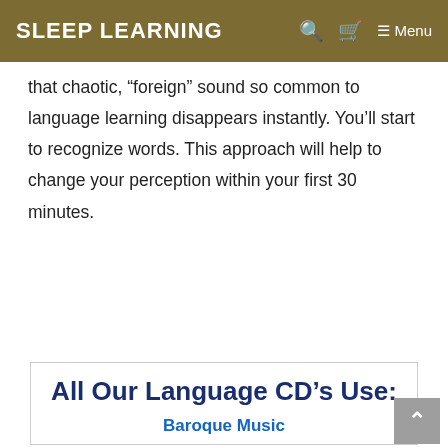SLEEP LEARNING
that chaotic, “foreign” sound so common to language learning disappears instantly. You’ll start to recognize words. This approach will help to change your perception within your first 30 minutes.
All Our Language CD’s Use:
Baroque Music
The Bulgarian physician Georgi Lozanov devised